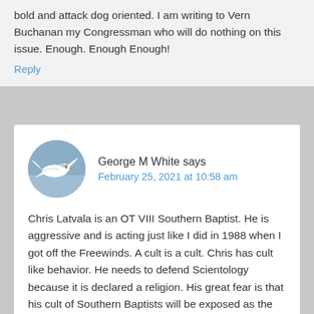bold and attack dog oriented. I am writing to Vern Buchanan my Congressman who will do nothing on this issue. Enough. Enough Enough!
Reply
[Figure (photo): Circular avatar photo of a seagull in flight against a blue sky]
George M White says
February 25, 2021 at 10:58 am
Chris Latvala is an OT VIII Southern Baptist. He is aggressive and is acting just like I did in 1988 when I got off the Freewinds. A cult is a cult. Chris has cult like behavior. He needs to defend Scientology because it is declared a religion. His great fear is that his cult of Southern Baptists will be exposed as the Occult cult that they are. The sad part is that when these people are